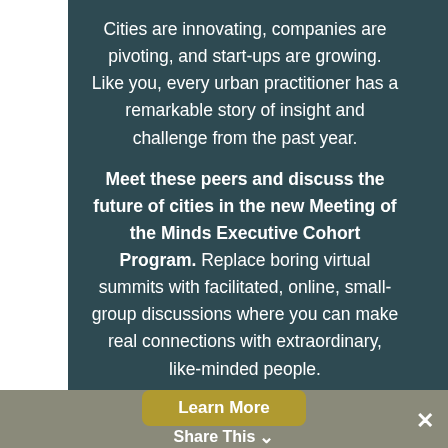Cities are innovating, companies are pivoting, and start-ups are growing. Like you, every urban practitioner has a remarkable story of insight and challenge from the past year.
Meet these peers and discuss the future of cities in the new Meeting of the Minds Executive Cohort Program. Replace boring virtual summits with facilitated, online, small-group discussions where you can make real connections with extraordinary, like-minded people.
Learn More
Share This